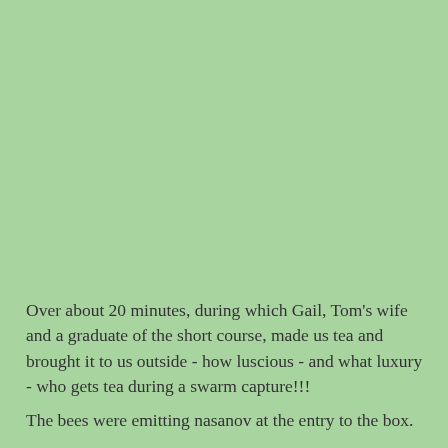Over about 20 minutes, during which Gail, Tom's wife and a graduate of the short course, made us tea and brought it to us outside - how luscious - and what luxury - who gets tea during a swarm capture!!!
The bees were emitting nasanov at the entry to the box.